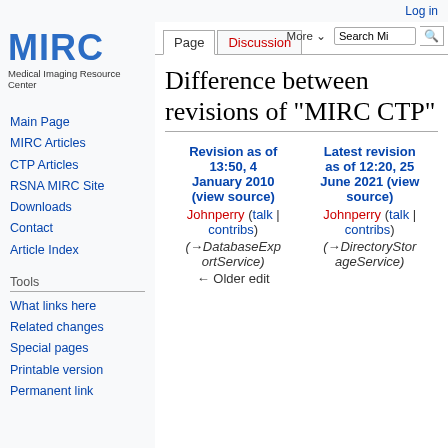Log in
[Figure (logo): MIRC logo with text 'Medical Imaging Resource Center']
Main Page
MIRC Articles
CTP Articles
RSNA MIRC Site
Downloads
Contact
Article Index
Tools
What links here
Related changes
Special pages
Printable version
Permanent link
Difference between revisions of "MIRC CTP"
| Revision as of 13:50, 4 January 2010 (view source) | Latest revision as of 12:20, 25 June 2021 (view source) |
| --- | --- |
| Johnperry (talk | contribs) | Johnperry (talk | contribs) |
| (→DatabaseExportService) | (→DirectoryStorageService) |
| ← Older edit |  |